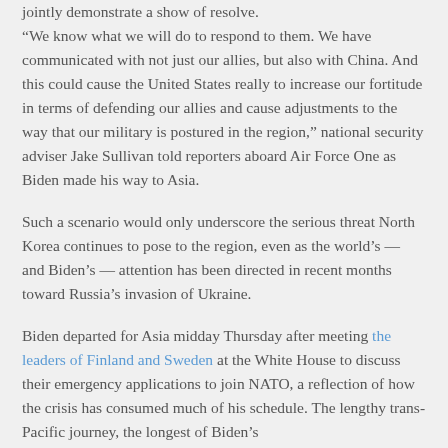jointly demonstrate a show of resolve. “We know what we will do to respond to them. We have communicated with not just our allies, but also with China. And this could cause the United States really to increase our fortitude in terms of defending our allies and cause adjustments to the way that our military is postured in the region,” national security adviser Jake Sullivan told reporters aboard Air Force One as Biden made his way to Asia.
Such a scenario would only underscore the serious threat North Korea continues to pose to the region, even as the world’s — and Biden’s — attention has been directed in recent months toward Russia’s invasion of Ukraine.
Biden departed for Asia midday Thursday after meeting the leaders of Finland and Sweden at the White House to discuss their emergency applications to join NATO, a reflection of how the crisis has consumed much of his schedule. The lengthy trans-Pacific journey, the longest of Biden’s presidency, found him defending it to reporters.